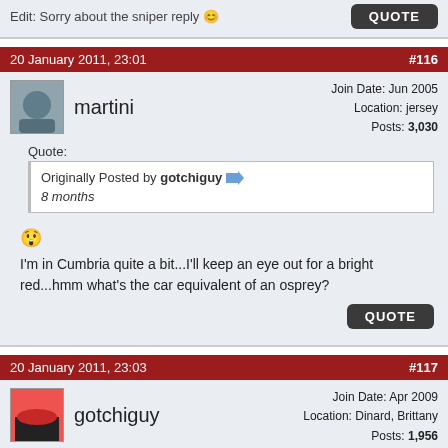Edit: Sorry about the sniper reply 😊
20 January 2011, 23:01 | #116
martini | Join Date: Jun 2005 | Location: jersey | Posts: 3,030
Quote: Originally Posted by gotchiguy — 8 months
😲 I'm in Cumbria quite a bit...I'll keep an eye out for a bright red...hmm what's the car equivalent of an osprey?
20 January 2011, 23:03 | #117
gotchiguy | Join Date: Apr 2009 | Location: Dinard, Brittany | Posts: 1,956